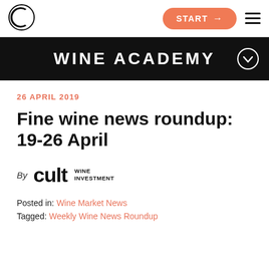[Figure (logo): Cult Wines circular C logo in top left navigation bar]
START → ☰
WINE ACADEMY
26 APRIL 2019
Fine wine news roundup: 19-26 April
By cult WINE INVESTMENT
Posted in: Wine Market News
Tagged: Weekly Wine News Roundup